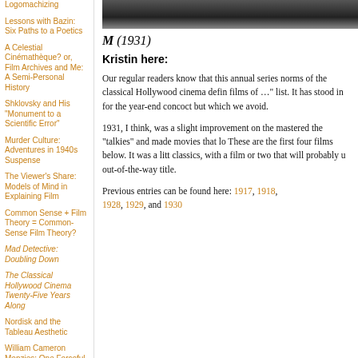Logomachizing
Lessons with Bazin: Six Paths to a Poetics
A Celestial Cinémathèque? or, Film Archives and Me: A Semi-Personal History
Shklovsky and His "Monument to a Scientific Error"
Murder Culture: Adventures in 1940s Suspense
The Viewer's Share: Models of Mind in Explaining Film
Common Sense + Film Theory = Common-Sense Film Theory?
Mad Detective: Doubling Down
The Classical Hollywood Cinema Twenty-Five Years Along
Nordisk and the Tableau Aesthetic
William Cameron Menzies: One Forceful, Impressive Idea
Another Shaw Production:
[Figure (photo): Black and white film still, likely from M (1931)]
M (1931)
Kristin here:
Our regular readers know that this annual series norms of the classical Hollywood cinema defin films of …" list. It has stood in for the year-end concoct but which we avoid.
1931, I think, was a slight improvement on the mastered the "talkies" and made movies that lo These are the first four films below. It was a litt classics, with a film or two that will probably u out-of-the-way title.
Previous entries can be found here: 1917, 1918, 1928, 1929, and 1930